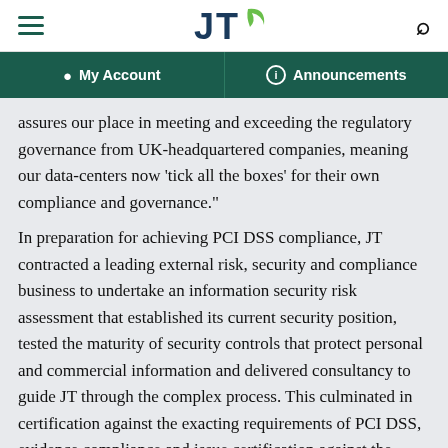JT — My Account | Announcements
assures our place in meeting and exceeding the regulatory governance from UK-headquartered companies, meaning our data-centers now 'tick all the boxes' for their own compliance and governance."
In preparation for achieving PCI DSS compliance, JT contracted a leading external risk, security and compliance business to undertake an information security risk assessment that established its current security position, tested the maturity of security controls that protect personal and commercial information and delivered consultancy to guide JT through the complex process. This culminated in certification against the exacting requirements of PCI DSS, evidence compliance and issue certification against the appropriate elements of the standard via an independent